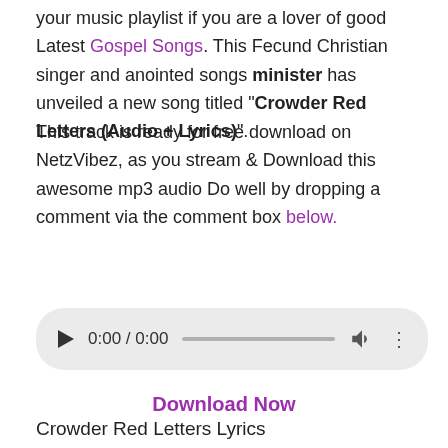your music playlist if you are a lover of good Latest Gospel Songs. This Fecund Christian singer and anointed songs minister has unveiled a new song titled “Crowder Red Letters (Audio + Lyrics)”.
This track is ready for free download on NetzVibez, as you stream & Download this awesome mp3 audio Do well by dropping a comment via the comment box below.
[Figure (other): Audio player widget showing 0:00 / 0:00 with play button, progress bar, volume and more options icons]
Download Now
Crowder Red Letters Lyrics